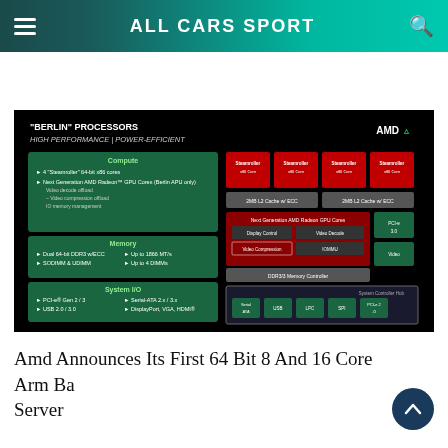ALL CARS SPORT
[Figure (infographic): AMD 'Berlin' Processors slide showing block diagram with Steamroller cores, memory controller, GPU, and system I/O sections on black background]
Amd Announces Its First 64 Bit 8 And 16 Core Arm Based Server